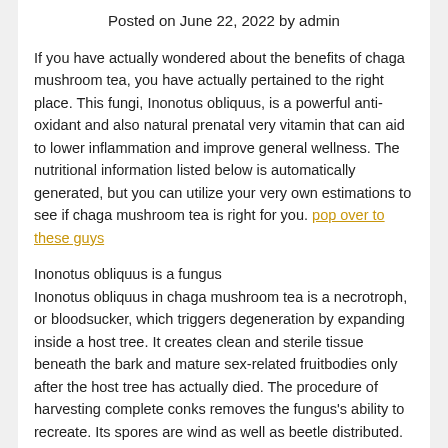Posted on June 22, 2022 by admin
If you have actually wondered about the benefits of chaga mushroom tea, you have actually pertained to the right place. This fungi, Inonotus obliquus, is a powerful anti-oxidant and also natural prenatal very vitamin that can aid to lower inflammation and improve general wellness. The nutritional information listed below is automatically generated, but you can utilize your very own estimations to see if chaga mushroom tea is right for you. pop over to these guys
Inonotus obliquus is a fungus
Inonotus obliquus in chaga mushroom tea is a necrotroph, or bloodsucker, which triggers degeneration by expanding inside a host tree. It creates clean and sterile tissue beneath the bark and mature sex-related fruitbodies only after the host tree has actually died. The procedure of harvesting complete conks removes the fungus's ability to recreate. Its spores are wind as well as beetle distributed.